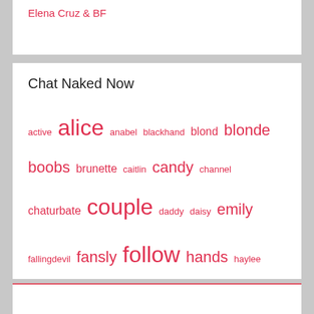Elena Cruz & BF
Chat Naked Now
active alice anabel blackhand blond blonde boobs brunette caitlin candy channel chaturbate couple daddy daisy emily fallingdevil fansly follow hands haylee holly https instagram isabela jeangreybianca jennycutey julia kitty lola2 lovense masha megan melissa molly nicole olivia onlyfans pleasure private sasha stream tattoo twitter welcome